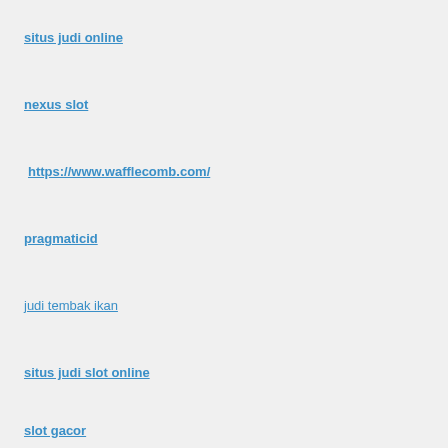situs judi online
nexus slot
https://www.wafflecomb.com/
pragmaticid
judi tembak ikan
situs judi slot online
slot gacor